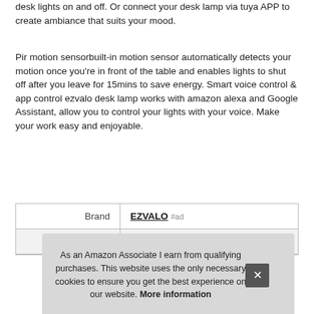desk lights on and off. Or connect your desk lamp via tuya APP to create ambiance that suits your mood.
Pir motion sensorbuilt-in motion sensor automatically detects your motion once you're in front of the table and enables lights to shut off after you leave for 15mins to save energy. Smart voice control & app control ezvalo desk lamp works with amazon alexa and Google Assistant, allow you to control your lights with your voice. Make your work easy and enjoyable.
|  |  |
| --- | --- |
| Brand | EZVALO #ad |
| Height | 8.66 Inches |
As an Amazon Associate I earn from qualifying purchases. This website uses the only necessary cookies to ensure you get the best experience on our website. More information